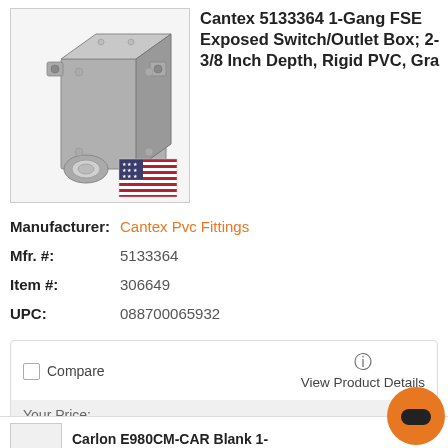[Figure (photo): Gray PVC electrical box with circular conduit entry and mounting ears, shown in 3D perspective view. US flag overlay in bottom-right corner of image.]
Cantex 5133364 1-Gang FSE Exposed Switch/Outlet Box; 2-3/8 Inch Depth, Rigid PVC, Gra
Manufacturer: Cantex Pvc Fittings
Mfr. #: 5133364
Item #: 306649
UPC: 088700065932
Compare
View Product Details
Your Price:
LOG IN / REGISTER
Carlon E980CM-CAR Blank 1-